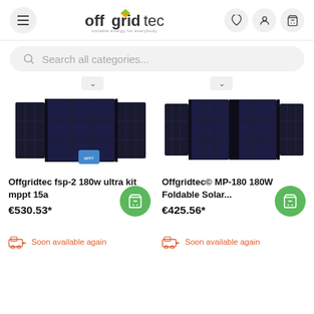[Figure (screenshot): Offgridtec e-commerce website header with hamburger menu, logo, search bar, and product listings showing two foldable solar panel kits]
Offgridtec fsp-2 180w ultra kit mppt 15a
€530.53*
Soon available again
Offgridtec© MP-180 180W Foldable Solar...
€425.56*
Soon available again